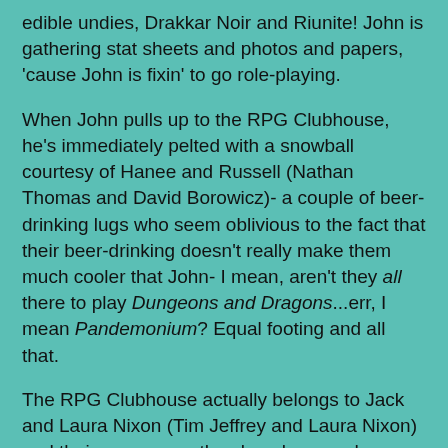edible undies, Drakkar Noir and Riunite! John is gathering stat sheets and photos and papers, 'cause John is fixin' to go role-playing.
When John pulls up to the RPG Clubhouse, he's immediately pelted with a snowball courtesy of Hanee and Russell (Nathan Thomas and David Borowicz)- a couple of beer-drinking lugs who seem oblivious to the fact that their beer-drinking doesn't really make them much cooler that John- I mean, aren't they all there to play Dungeons and Dragons...err, I mean Pandemonium? Equal footing and all that.
The RPG Clubhouse actually belongs to Jack and Laura Nixon (Tim Jeffrey and Laura Nixon) and their young son, the cleverly named Jackson, aka Jack Jr (Jackson Kennedy). The similarity in names would go on to cause me some confusion thanks to the shitty script- "Oh, I'm worried about Jack. And what about Jack?"- but nothing would cause me to blurt "What the fuck?" more than the performance of little Jackson Kennedy.